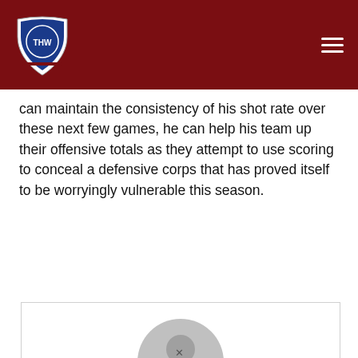THW
can maintain the consistency of his shot rate over these next few games, he can help his team up their offensive totals as they attempt to use scoring to conceal a defensive corps that has proved itself to be worryingly vulnerable this season.
[Figure (photo): Default user avatar placeholder — grey circle with person silhouette]
Julia Stumbaugh